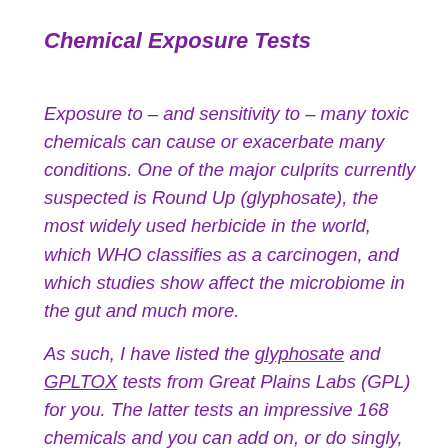Chemical Exposure Tests
Exposure to – and sensitivity to – many toxic chemicals can cause or exacerbate many conditions. One of the major culprits currently suspected is Round Up (glyphosate), the most widely used herbicide in the world, which WHO classifies as a carcinogen, and which studies show affect the microbiome in the gut and much more.
As such, I have listed the glyphosate and GPLTOX tests from Great Plains Labs (GPL) for you. The latter tests an impressive 168 chemicals and you can add on, or do singly,